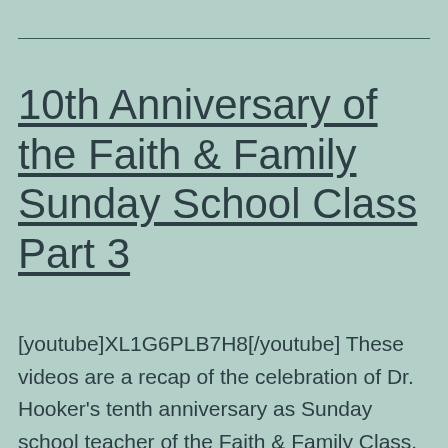10th Anniversary of the Faith & Family Sunday School Class Part 3
[youtube]XL1G6PLB7H8[/youtube] These videos are a recap of the celebration of Dr. Hooker's tenth anniversary as Sunday school teacher of the Faith & Family Class. We are honored to have Dr. & Mrs. Bob Hooker as